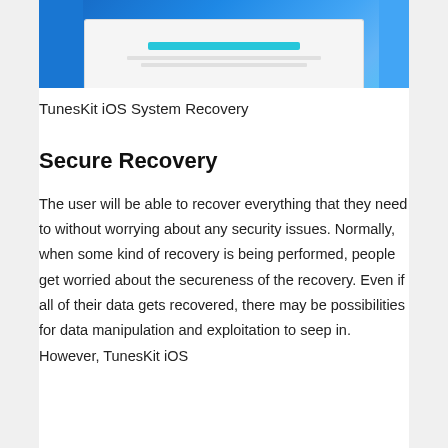[Figure (screenshot): Screenshot of TunesKit iOS System Recovery software interface shown on a blue background with lighter blue accent panels on sides.]
TunesKit iOS System Recovery
Secure Recovery
The user will be able to recover everything that they need to without worrying about any security issues. Normally, when some kind of recovery is being performed, people get worried about the secureness of the recovery. Even if all of their data gets recovered, there may be possibilities for data manipulation and exploitation to seep in. However, TunesKit iOS